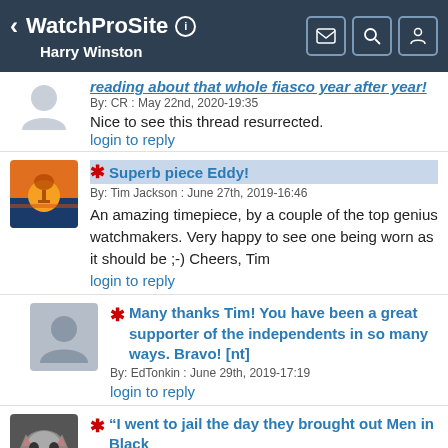WatchProSite — Harry Winston
reading about that whole fiasco year after year!
By: CR : May 22nd, 2020-19:35
Nice to see this thread resurrected.
login to reply
Superb piece Eddy!
By: Tim Jackson : June 27th, 2019-16:46
An amazing timepiece, by a couple of the top genius watchmakers. Very happy to see one being worn as it should be ;-) Cheers, Tim
login to reply
Many thanks Tim! You have been a great supporter of the independents in so many ways. Bravo! [nt]
By: EdTonkin : June 29th, 2019-17:19
login to reply
“I went to jail the day they brought out Men in Black
By: NickO : June 27th, 2019-16:57
When I came out, Timberlake was bringing Sexy Back" - Bake Not Nice ramping about his nice year stretch. Your